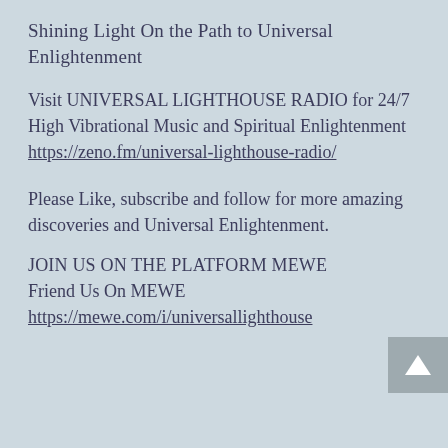Shining Light On the Path to Universal Enlightenment
Visit UNIVERSAL LIGHTHOUSE RADIO for 24/7 High Vibrational Music and Spiritual Enlightenment https://zeno.fm/universal-lighthouse-radio/
Please Like, subscribe and follow for more amazing discoveries and Universal Enlightenment.
JOIN US ON THE PLATFORM MEWE Friend Us On MEWE https://mewe.com/i/universallighthouse